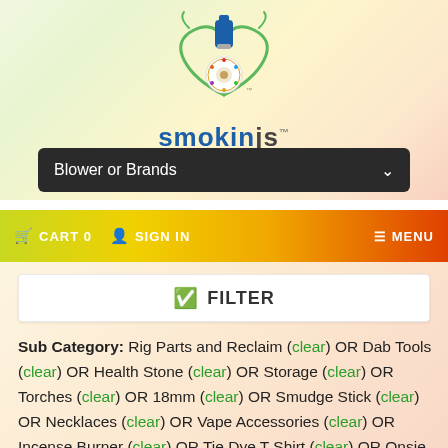[Figure (logo): SmokinJs logo with decorative plant/pipe graphic and blue brand name text]
Blower or Brands
CART 0   SIGN IN   MENU
FILTER
Sub Category: Rig Parts and Reclaim (clear) OR Dab Tools (clear) OR Health Stone (clear) OR Storage (clear) OR Torches (clear) OR 18mm (clear) OR Smudge Stick (clear) OR Necklaces (clear) OR Vape Accessories (clear) OR Incense Burner (clear) OR Tie Dye T Shirt (clear) OR Onsie (clear)